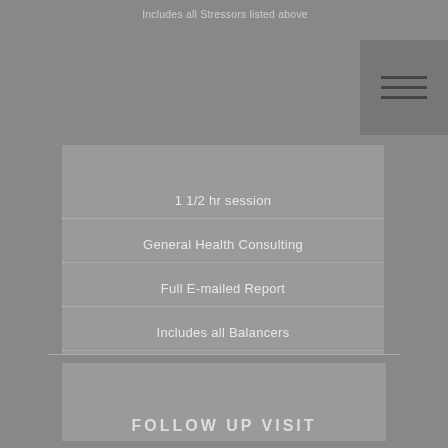Includes all Stressors listed above
1 1/2 hr session
General Health Consulting
Full E-mailed Report
Includes all Balancers
FOLLOW UP VISIT